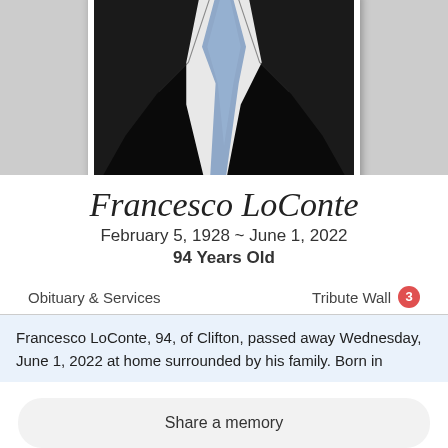[Figure (photo): Portrait photo of Francesco LoConte in a dark suit with a light blue/grey tie, shown from neck/chest area, framed with white border, against black background]
Francesco LoConte
February 5, 1928 ~ June 1, 2022
94 Years Old
Obituary & Services
Tribute Wall 3
Francesco LoConte, 94, of Clifton, passed away Wednesday, June 1, 2022 at home surrounded by his family. Born in
Share a memory